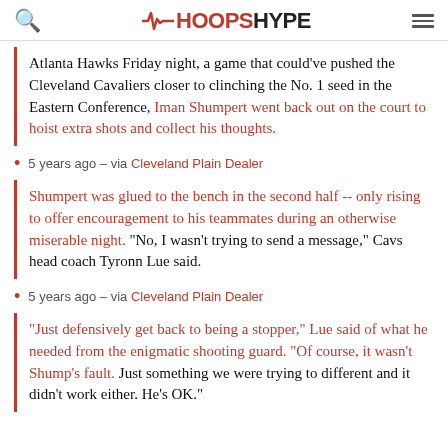HoopsHype
Atlanta Hawks Friday night, a game that could've pushed the Cleveland Cavaliers closer to clinching the No. 1 seed in the Eastern Conference, Iman Shumpert went back out on the court to hoist extra shots and collect his thoughts.
5 years ago – via Cleveland Plain Dealer
Shumpert was glued to the bench in the second half -- only rising to offer encouragement to his teammates during an otherwise miserable night. "No, I wasn't trying to send a message," Cavs head coach Tyronn Lue said.
5 years ago – via Cleveland Plain Dealer
"Just defensively get back to being a stopper," Lue said of what he needed from the enigmatic shooting guard. "Of course, it wasn't Shump's fault. Just something we were trying to different and it didn't work either. He's OK."